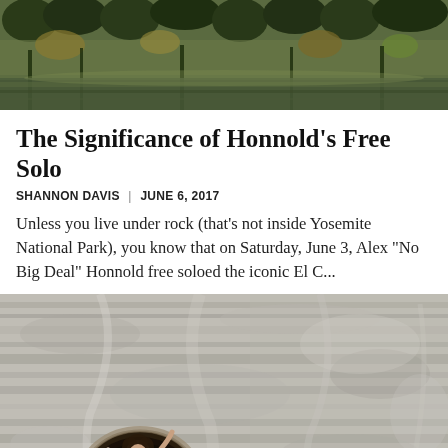[Figure (photo): Aerial or wide-angle photo of a forested wetland area with trees and water reflection, muted green and brown tones]
The Significance of Honnold's Free Solo
SHANNON DAVIS  |  JUNE 6, 2017
Unless you live under rock (that's not inside Yosemite National Park), you know that on Saturday, June 3, Alex "No Big Deal" Honnold free soloed the iconic El C...
[Figure (photo): A rock climber (woman with curly hair) climbing through a circular hole or tunnel in a large granite rock face, with textured rock surface filling most of the frame]